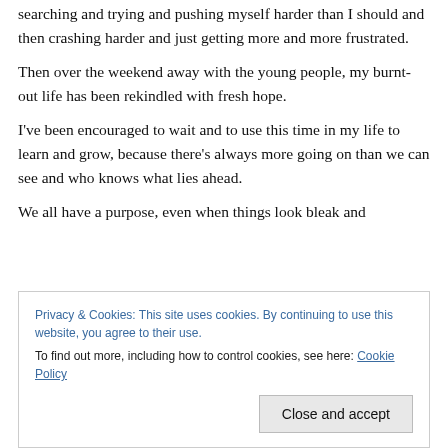searching and trying and pushing myself harder than I should and then crashing harder and just getting more and more frustrated.
Then over the weekend away with the young people, my burnt-out life has been rekindled with fresh hope.
I've been encouraged to wait and to use this time in my life to learn and grow, because there's always more going on than we can see and who knows what lies ahead.
We all have a purpose, even when things look bleak and
Privacy & Cookies: This site uses cookies. By continuing to use this website, you agree to their use.
To find out more, including how to control cookies, see here: Cookie Policy
Close and accept